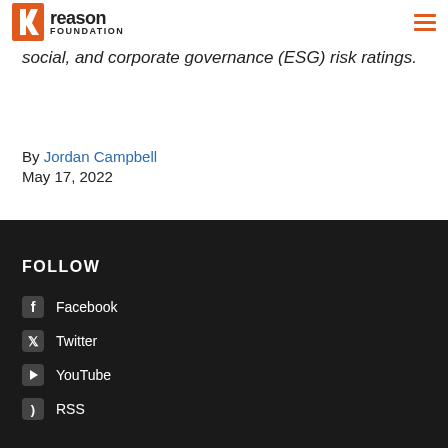Reason Foundation
social, and corporate governance (ESG) risk ratings.
By Jordan Campbell
May 17, 2022
FOLLOW
Facebook
Twitter
YouTube
RSS